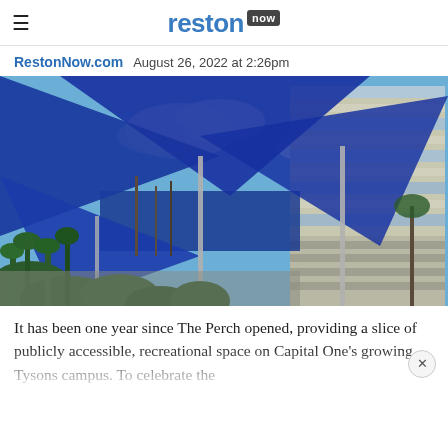reston now
RestonNow.com  August 26, 2022 at 2:26pm
[Figure (photo): Outdoor plaza with large blue triangular sail shade canopies overhead, blue sky with clouds visible between them, modern office building with striped glass facade visible on the right, trees and plants in the foreground]
It has been one year since The Perch opened, providing a slice of publicly accessible, recreational space on Capital One's growing Tysons campus. To celebrate the